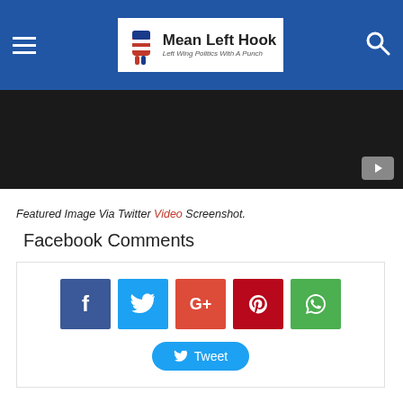Mean Left Hook — Left Wing Politics With A Punch
[Figure (screenshot): Dark video player area with a play button in the bottom right corner]
Featured Image Via Twitter Video Screenshot.
Facebook Comments
[Figure (infographic): Social share buttons: Facebook (blue), Twitter (light blue), Google+ (red-orange), Pinterest (dark red), WhatsApp (green). Below them a Tweet button in light blue with Twitter bird icon.]